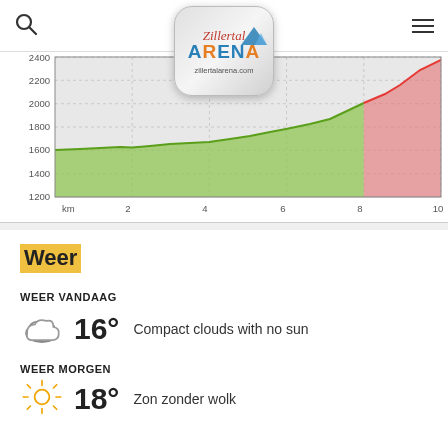[Figure (continuous-plot): Elevation profile chart showing terrain from km 0 to 10, elevation range ~1200 to ~2400m. Green line shows gradual rise from ~1630m to ~2050m up to km 8, then red line shows steep rise from ~2050m to ~2400m from km 8 to km 10. Background is light grey with dashed grid lines.]
Weer
WEER VANDAAG
16° Compact clouds with no sun
WEER MORGEN
18° Zon zonder wolk